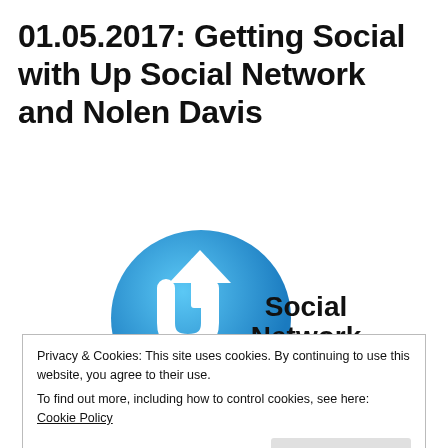01.05.2017:  Getting Social with Up Social Network and Nolen Davis
[Figure (logo): Up Social Network logo: a blue speech bubble with a white upward arrow styled as the letter P, with text 'Social Network' in bold black and 'UNLEASHING POTENTIAL IN YOUR SOCIAL NETWORK.' in smaller gray text]
Privacy & Cookies: This site uses cookies. By continuing to use this website, you agree to their use.
To find out more, including how to control cookies, see here: Cookie Policy
Close and accept